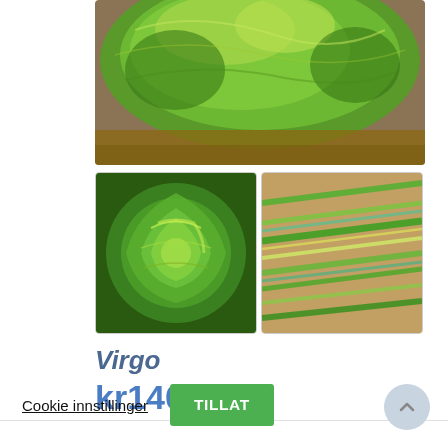[Figure (photo): Main product image: green yarn ball (multicolored green tones) on wooden surface, cropped at top]
[Figure (photo): Thumbnail 1: tight coiled green/yellow multicolored yarn]
[Figure (photo): Thumbnail 2: green/teal/yellow yarn strands laid flat on wood surface]
Virgo
kr140.00
Vi bruker cookies på nettisden for å gi deg best mulig brukeropplevelse, og for å måle trafikk til siden. Ved å bruke nettsiden godkjenner du bruk av cookies.
Les mer
Cookie innstillinger
TILLAT